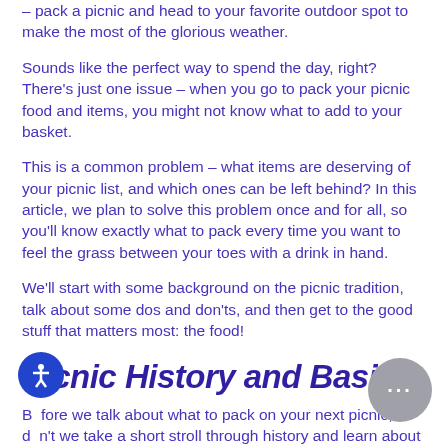– pack a picnic and head to your favorite outdoor spot to make the most of the glorious weather.
Sounds like the perfect way to spend the day, right? There's just one issue – when you go to pack your picnic food and items, you might not know what to add to your basket.
This is a common problem – what items are deserving of your picnic list, and which ones can be left behind? In this article, we plan to solve this problem once and for all, so you'll know exactly what to pack every time you want to feel the grass between your toes with a drink in hand.
We'll start with some background on the picnic tradition, talk about some dos and don'ts, and then get to the good stuff that matters most: the food!
Picnic History and Basics
Before we talk about what to pack on your next picnic, don't we take a short stroll through history and learn about how the picnic as we know it came to be?